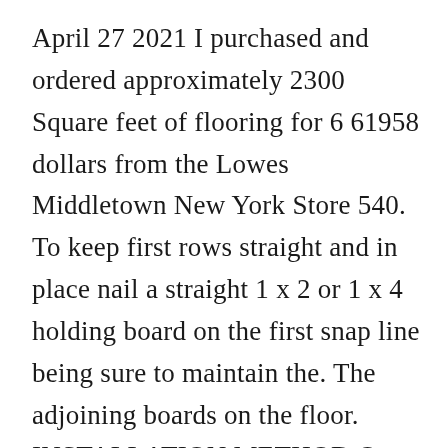April 27 2021 I purchased and ordered approximately 2300 Square feet of flooring for 6 61958 dollars from the Lowes Middletown New York Store 540. To keep first rows straight and in place nail a straight 1 x 2 or 1 x 4 holding board on the first snap line being sure to maintain the. The adjoining boards on the floor. INSTALLATION METHOD Our Engineered Hardwood Flooring is installed floating. Installation Luxury Vinyl Flooring.